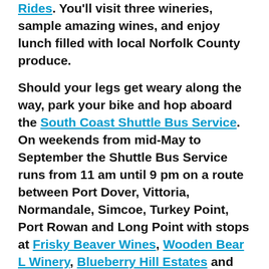Rides. You'll visit three wineries, sample amazing wines, and enjoy lunch filled with local Norfolk County produce.
Should your legs get weary along the way, park your bike and hop aboard the South Coast Shuttle Bus Service. On weekends from mid-May to September the Shuttle Bus Service runs from 11 am until 9 pm on a route between Port Dover, Vittoria, Normandale, Simcoe, Turkey Point, Port Rowan and Long Point with stops at Frisky Beaver Wines, Wooden Bear L Winery, Blueberry Hill Estates and Burning Kiln Winery.
If you're interested in a longer cycling trip that includes stops at some of the area's wineries, the St. Thomas and Four Ports Tour is a great multi-day route. The 184-km journey takes four days to